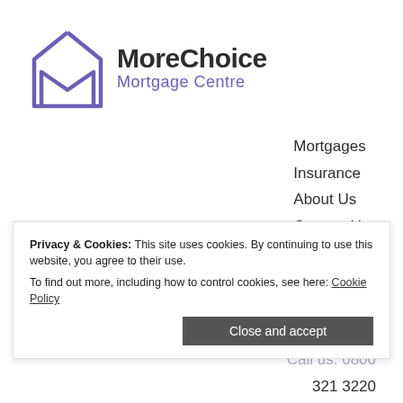[Figure (logo): MoreChoice Mortgage Centre logo — purple house/letter M icon on left, dark grey 'MoreChoice' large text and purple 'Mortgage Centre' below on right]
Mortgages
Insurance
About Us
Contact Us
Select Page
Mortgages
Insurance
Contact Us
Privacy & Cookies: This site uses cookies. By continuing to use this website, you agree to their use.
To find out more, including how to control cookies, see here: Cookie Policy
Close and accept
Call us: 0800
321 3220